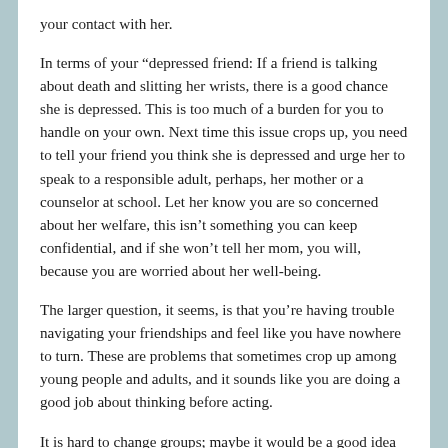your contact with her.
In terms of your “depressed friend: If a friend is talking about death and slitting her wrists, there is a good chance she is depressed. This is too much of a burden for you to handle on your own. Next time this issue crops up, you need to tell your friend you think she is depressed and urge her to speak to a responsible adult, perhaps, her mother or a counselor at school. Let her know you are so concerned about her welfare, this isn’t something you can keep confidential, and if she won’t tell her mom, you will, because you are worried about her well-being.
The larger question, it seems, is that you’re having trouble navigating your friendships and feel like you have nowhere to turn. These are problems that sometimes crop up among young people and adults, and it sounds like you are doing a good job about thinking before acting.
It is hard to change groups; maybe it would be a good idea to work on developing a friendship with one person you trust rather than giving up on your group as a whole. You